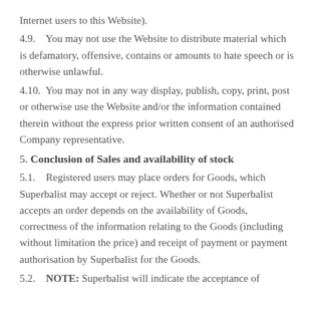Internet users to this Website).
4.9.   You may not use the Website to distribute material which is defamatory, offensive, contains or amounts to hate speech or is otherwise unlawful.
4.10.  You may not in any way display, publish, copy, print, post or otherwise use the Website and/or the information contained therein without the express prior written consent of an authorised Company representative.
5. Conclusion of Sales and availability of stock
5.1.   Registered users may place orders for Goods, which Superbalist may accept or reject. Whether or not Superbalist accepts an order depends on the availability of Goods, correctness of the information relating to the Goods (including without limitation the price) and receipt of payment or payment authorisation by Superbalist for the Goods.
5.2.   NOTE: Superbalist will indicate the acceptance of...